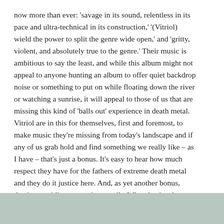now more than ever: 'savage in its sound, relentless in its pace and ultra-technical in its construction,' '(Vitriol) wield the power to split the genre wide open,' and 'gritty, violent, and absolutely true to the genre.' Their music is ambitious to say the least, and while this album might not appeal to anyone hunting an album to offer quiet backdrop noise or something to put on while floating down the river or watching a sunrise, it will appeal to those of us that are missing this kind of 'balls out' experience in death metal. Vitriol are in this for themselves, first and foremost, to make music they're missing from today's landscape and if any of us grab hold and find something we really like – as I have – that's just a bonus. It's easy to hear how much respect they have for the fathers of extreme death metal and they do it justice here. And, as yet another bonus, they're not riding anyone's coattails. What they've done here is take the sonic spectrum to an even higher extreme and a sharp willpower to do it better and push the envelope even further than what was ever thought possible.
[Figure (photo): Partial view of an image at the bottom of the page, showing a muted blue-green/gray tone background, likely a concert or band photo.]